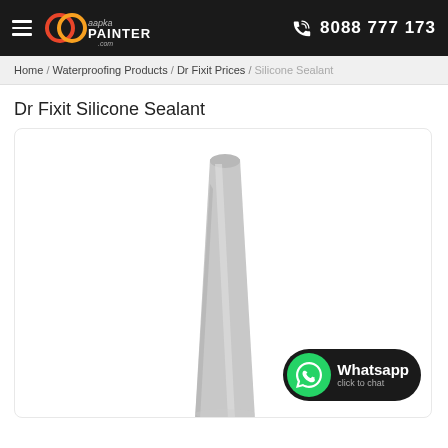aapka PAINTER — 8088 777 173
Home / Waterproofing Products / Dr Fixit Prices / Silicone Sealant
Dr Fixit Silicone Sealant
[Figure (photo): Dr Fixit Silicone Sealant tube nozzle tip, white/grey color, tapered tip pointing upward, on a white background inside a rounded-corner card. WhatsApp click to chat button in bottom right corner.]